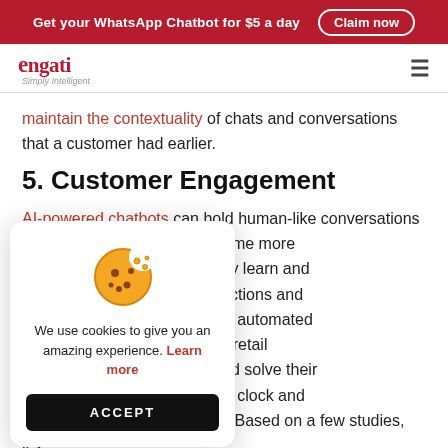Get your WhatsApp Chatbot for $5 a day   Claim now
[Figure (logo): Engati Simply Intelligent logo with hamburger menu icon]
maintain the contextuality of chats and conversations that a customer had earlier.
5. Customer Engagement
AI-powered chatbots can hold human-like conversations with ... help of AI and become more ... tion with NLP. They learn and ... sed on their interactions and ... omers. Given their automated ... able 24/7, helping retail ... with customers and solve their ... services round the clock and greatly minimizing wait times. Based on a few studies, it's
[Figure (infographic): Cookie consent popup with cookie illustration, text 'We use cookies to give you an amazing experience. Learn more' and ACCEPT button]